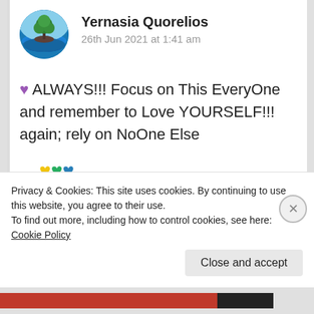[Figure (illustration): Circular avatar image showing a tree on an island with blue sky and water]
Yernasia Quorelios
26th Jun 2021 at 1:41 am
💜 ALWAYS!!! Focus on This EveryOne and remember to Love YOURSELF!!! again; rely on NoOne Else
…💛💚💙…
★ Liked by 3 people
Log in to Reply
Privacy & Cookies: This site uses cookies. By continuing to use this website, you agree to their use.
To find out more, including how to control cookies, see here: Cookie Policy
Close and accept